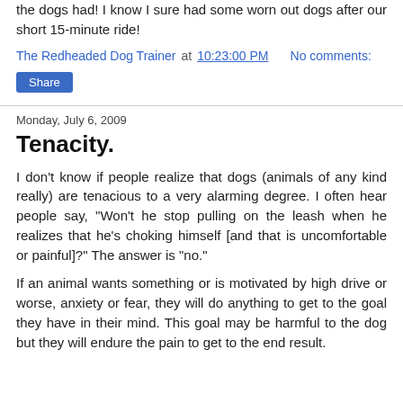the dogs had! I know I sure had some worn out dogs after our short 15-minute ride!
The Redheaded Dog Trainer at 10:23:00 PM    No comments:
Share
Monday, July 6, 2009
Tenacity.
I don't know if people realize that dogs (animals of any kind really) are tenacious to a very alarming degree. I often hear people say, "Won't he stop pulling on the leash when he realizes that he's choking himself [and that is uncomfortable or painful]?" The answer is "no."
If an animal wants something or is motivated by high drive or worse, anxiety or fear, they will do anything to get to the goal they have in their mind. This goal may be harmful to the dog but they will endure the pain to get to the end result.